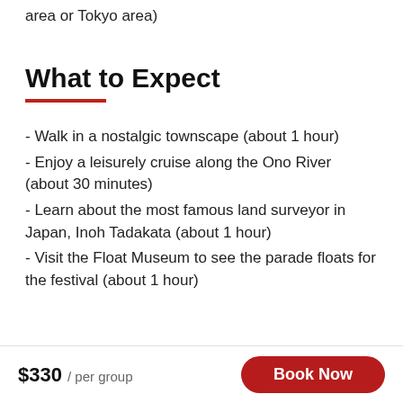area or Tokyo area)
What to Expect
- Walk in a nostalgic townscape (about 1 hour)
- Enjoy a leisurely cruise along the Ono River (about 30 minutes)
- Learn about the most famous land surveyor in Japan, Inoh Tadakata (about 1 hour)
- Visit the Float Museum to see the parade floats for the festival (about 1 hour)
$330 / per group   Book Now